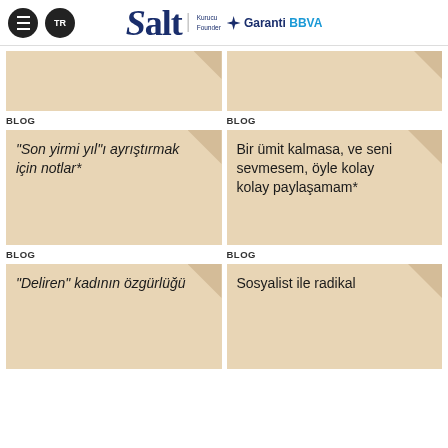Salt — Kurucu Founder — Garanti BBVA
[Figure (illustration): Two partially visible blog card thumbnails (beige/tan colored cards with folded corner) at top of page, cut off]
BLOG
BLOG
[Figure (illustration): Blog card with italic text: "Son yirmi yıl"ı ayrıştırmak için notlar*]
[Figure (illustration): Blog card with text: Bir ümit kalmasa, ve seni sevmesem, öyle kolay kolay paylaşamam*]
BLOG
BLOG
[Figure (illustration): Blog card with italic text: "Deliren" kadının özgürlüğü]
[Figure (illustration): Blog card with text: Sosyalist ile radikal]